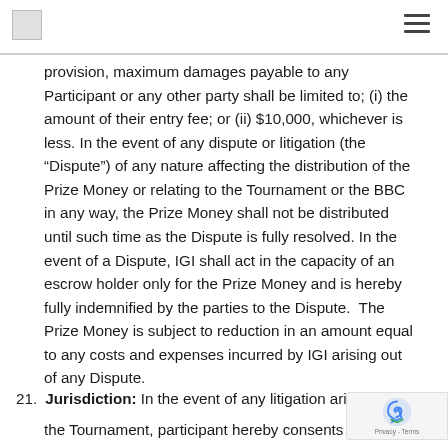[Logo] [Navigation menu icon]
provision, maximum damages payable to any Participant or any other party shall be limited to; (i) the amount of their entry fee; or (ii) $10,000, whichever is less. In the event of any dispute or litigation (the “Dispute”) of any nature affecting the distribution of the Prize Money or relating to the Tournament or the BBC in any way, the Prize Money shall not be distributed until such time as the Dispute is fully resolved. In the event of a Dispute, IGI shall act in the capacity of an escrow holder only for the Prize Money and is hereby fully indemnified by the parties to the Dispute.  The Prize Money is subject to reduction in an amount equal to any costs and expenses incurred by IGI arising out of any Dispute.
21. Jurisdiction: In the event of any litigation arising out of the Tournament, participant hereby consents to the